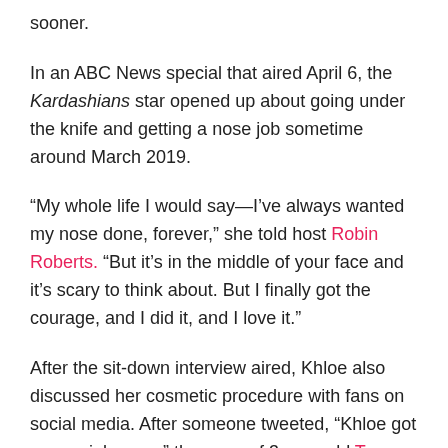sooner.
In an ABC News special that aired April 6, the Kardashians star opened up about going under the knife and getting a nose job sometime around March 2019.
“My whole life I would say—I’ve always wanted my nose done, forever,” she told host Robin Roberts. “But it’s in the middle of your face and it’s scary to think about. But I finally got the courage, and I did it, and I love it.”
After the sit-down interview aired, Khloe also discussed her cosmetic procedure with fans on social media. After someone tweeted, “Khloe got a nose job, omg,” the mom of 3-year-old True Thompson replied, “Yes! I spoke about it at the reunion with Andy Cohen as well. I got it a couple